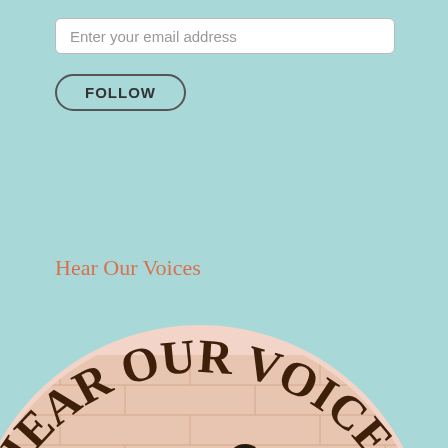Enter your email address
FOLLOW
Hear Our Voices
[Figure (illustration): Circular logo illustration with 'HEAR OUR VOICES' text arranged in a circular arc on a pink circular background. Two illustrated women seen from behind with arms around each other — one wearing a yellow shirt with brown hair, and one wearing a salmon/pink shirt with black hair in a bun — in front of a brick wall background.]